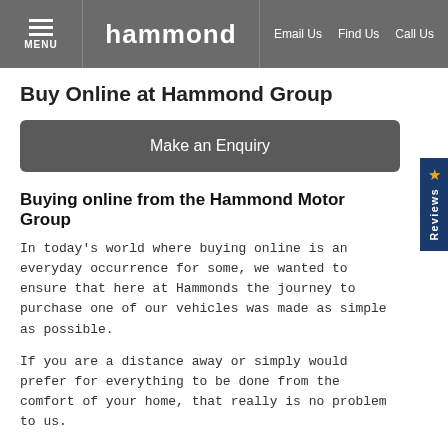MENU | hammond | Email Us | Find Us | Call Us
Buy Online at Hammond Group
Make an Enquiry
Buying online from the Hammond Motor Group
In today’s world where buying online is an everyday occurrence for some, we wanted to ensure that here at Hammonds the journey to purchase one of our vehicles was made as simple as possible.
If you are a distance away or simply would prefer for everything to be done from the comfort of your home, that really is no problem to us.
We aim to upload a minimum of 20 images of each car on to our website, however if you would prefer to view even more of that vehicle of interest, we would happily prepare a unique video just